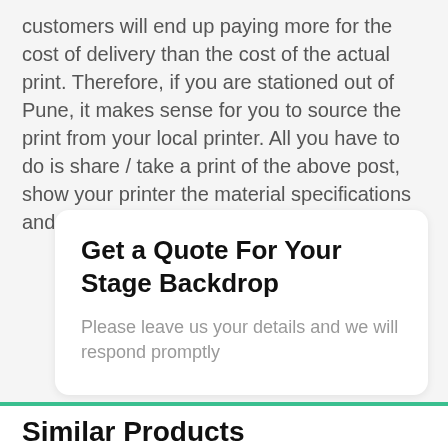customers will end up paying more for the cost of delivery than the cost of the actual print. Therefore, if you are stationed out of Pune, it makes sense for you to source the print from your local printer. All you have to do is share / take a print of the above post, show your printer the material specifications and commission a similar job from him.
Get a Quote For Your Stage Backdrop
Please leave us your details and we will respond promptly
Similar Products